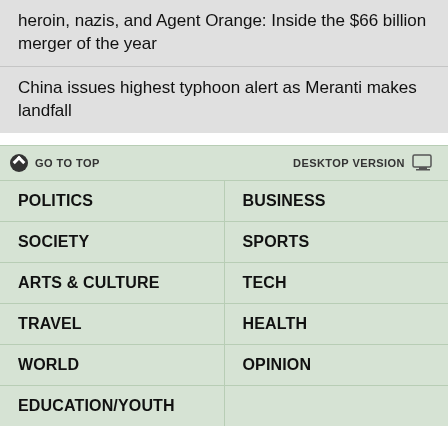heroin, nazis, and Agent Orange: Inside the $66 billion merger of the year
China issues highest typhoon alert as Meranti makes landfall
GO TO TOP
DESKTOP VERSION
POLITICS
BUSINESS
SOCIETY
SPORTS
ARTS & CULTURE
TECH
TRAVEL
HEALTH
WORLD
OPINION
EDUCATION/YOUTH